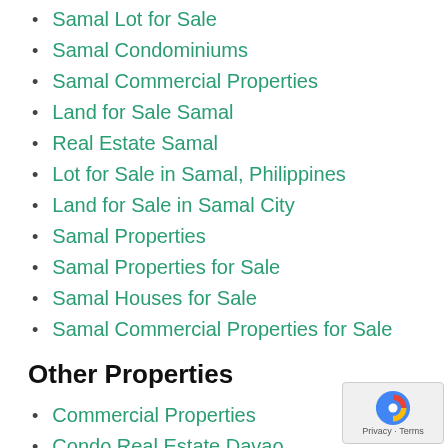Samal Lot for Sale
Samal Condominiums
Samal Commercial Properties
Land for Sale Samal
Real Estate Samal
Lot for Sale in Samal, Philippines
Land for Sale in Samal City
Samal Properties
Samal Properties for Sale
Samal Houses for Sale
Samal Commercial Properties for Sale
Other Properties
Commercial Properties
Condo Real Estate Davao
Davao Beach Front Subdivisions